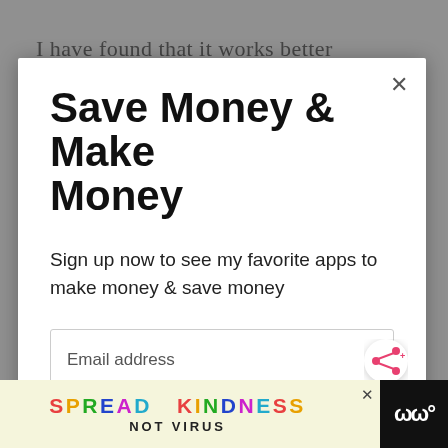I have found that it works better
Save Money & Make Money
Sign up now to see my favorite apps to make money & save money
Email address
Get It Now
WHAT'S NEXT → Home Depot Penny Items...
[Figure (screenshot): Bottom advertisement banner reading SPREAD KINDNESS NOT VIRUS with colorful letters on cream background, with close X button and dark right panel with W logo]